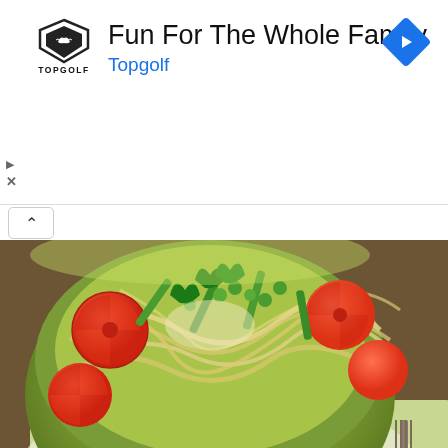[Figure (infographic): Topgolf advertisement banner with logo, text 'Fun For The Whole Family', subtitle 'Topgolf' in blue, navigation arrow icon, play and close controls]
[Figure (photo): Green bowl filled with pasta salad containing cherry tomatoes, fresh peas, green beans, parsley, and Pecorino cheese, placed on a green and white checkered cloth on a wooden table. A green teal circular heart/favorite button is visible at bottom right.]
recipes
Pasta Salad with Fresh Peas, Tomato and Pecorino